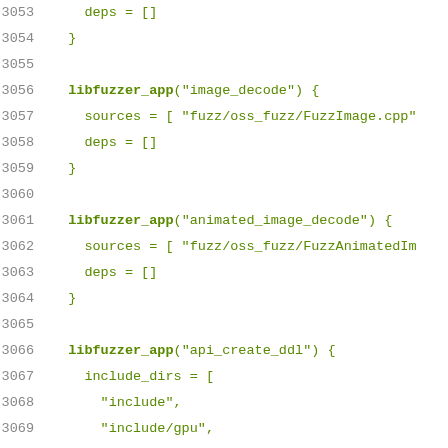Code listing lines 3053–3074, build system configuration (GN/Ninja style) showing libfuzzer_app definitions for image_decode, animated_image_decode, and api_create_ddl targets.